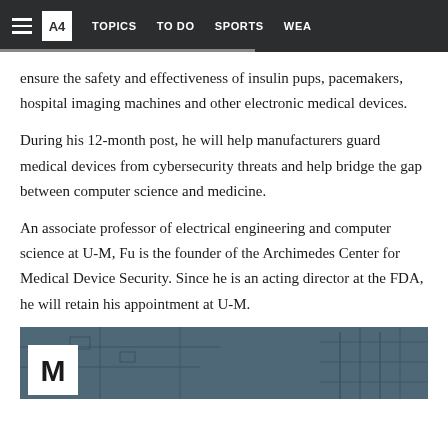≡  A4  TOPICS  TO DO  SPORTS  WEA
ensure the safety and effectiveness of insulin pups, pacemakers, hospital imaging machines and other electronic medical devices.
During his 12-month post, he will help manufacturers guard medical devices from cybersecurity threats and help bridge the gap between computer science and medicine.
An associate professor of electrical engineering and computer science at U-M, Fu is the founder of the Archimedes Center for Medical Device Security. Since he is an acting director at the FDA, he will retain his appointment at U-M.
[Figure (photo): Blue-toned image of electronic circuit board with University of Michigan logo (block M) visible in bottom left corner]